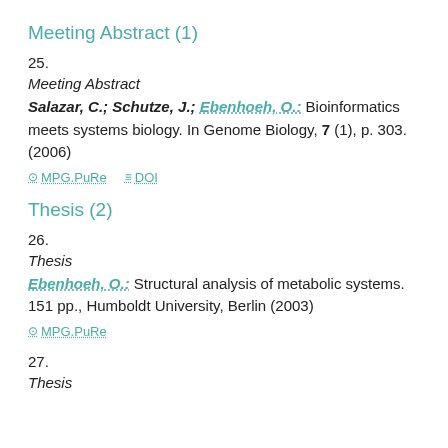Meeting Abstract (1)
25.
Meeting Abstract
Salazar, C.; Schutze, J.; Ebenhoeh, O.: Bioinformatics meets systems biology. In Genome Biology, 7 (1), p. 303. (2006)
MPG.PuRe   DOI
Thesis (2)
26.
Thesis
Ebenhoeh, O.: Structural analysis of metabolic systems. 151 pp., Humboldt University, Berlin (2003)
MPG.PuRe
27.
Thesis